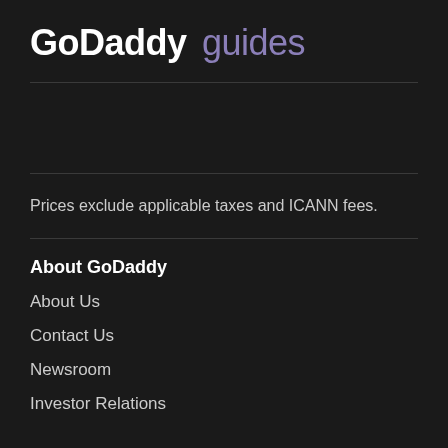GoDaddy guides
Prices exclude applicable taxes and ICANN fees.
About GoDaddy
About Us
Contact Us
Newsroom
Investor Relations